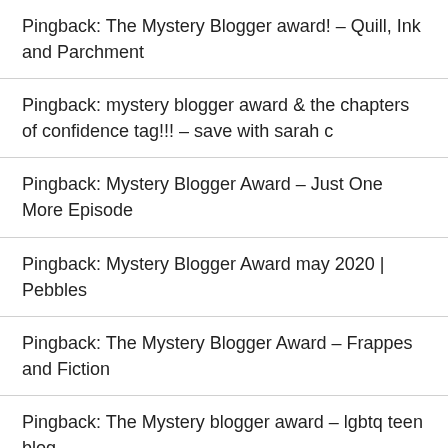Pingback: The Mystery Blogger award! – Quill, Ink and Parchment
Pingback: mystery blogger award & the chapters of confidence tag!!! – save with sarah c
Pingback: Mystery Blogger Award – Just One More Episode
Pingback: Mystery Blogger Award may 2020 | Pebbles
Pingback: The Mystery Blogger Award – Frappes and Fiction
Pingback: The Mystery blogger award – lgbtq teen blog
Pingback: Mystery Blogger Award Parts I, II & III – eleanor sophie